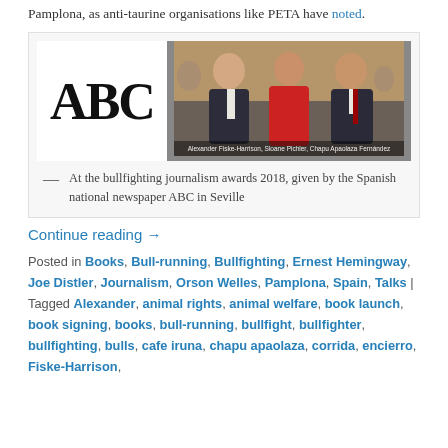Pamplona, as anti-taurine organisations like PETA have noted.
[Figure (photo): ABC logo on left with photo of three people (Alexander Fiske-Harrison, Sloane Pichler, Chapu Apaolaza Fernández) at bullfighting journalism awards 2018]
At the bullfighting journalism awards 2018, given by the Spanish national newspaper ABC in Seville
Continue reading →
Posted in Books, Bull-running, Bullfighting, Ernest Hemingway, Joe Distler, Journalism, Orson Welles, Pamplona, Spain, Talks | Tagged Alexander, animal rights, animal welfare, book launch, book signing, books, bull-running, bullfight, bullfighter, bullfighting, bulls, cafe iruna, chapu apaolaza, corrida, encierro, Fiske-Harrison,